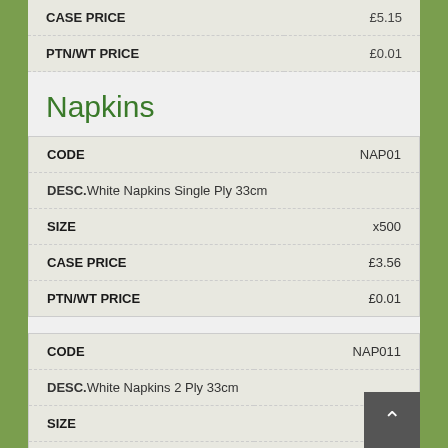| LABEL | VALUE |
| --- | --- |
| CASE PRICE | £5.15 |
| PTN/WT PRICE | £0.01 |
Napkins
| LABEL | VALUE |
| --- | --- |
| CODE | NAP01 |
| DESC. | White Napkins Single Ply 33cm |
| SIZE | x500 |
| CASE PRICE | £3.56 |
| PTN/WT PRICE | £0.01 |
| LABEL | VALUE |
| --- | --- |
| CODE | NAP011 |
| DESC. | White Napkins 2 Ply 33cm |
| SIZE | x100 |
| CASE PRICE | £1.96 |